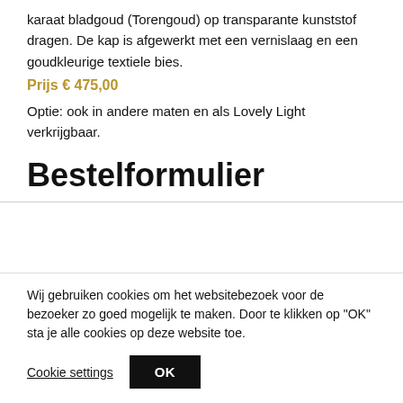karaat bladgoud (Torengoud) op transparante kunststof dragen. De kap is afgewerkt met een vernislaag en een goudkleurige textiele bies.
Prijs € 475,00
Optie: ook in andere maten en als Lovely Light verkrijgbaar.
Bestelformulier
Wij gebruiken cookies om het websitebezoek voor de bezoeker zo goed mogelijk te maken. Door te klikken op "OK" sta je alle cookies op deze website toe.
Cookie settings  OK